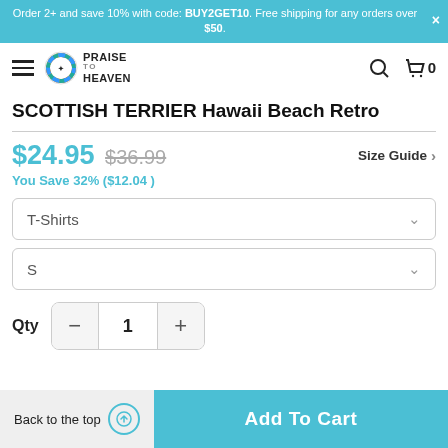Order 2+ and save 10% with code: BUY2GET10. Free shipping for any orders over $50.
[Figure (logo): Praise to Heaven logo with rainbow circle icon and text 'PRAISE TO HEAVEN']
SCOTTISH TERRIER Hawaii Beach Retro
$24.95  $36.99  You Save 32% ($12.04 )  Size Guide
T-Shirts
S
Qty  1
Back to the top  Add To Cart